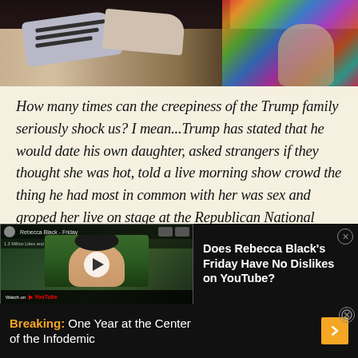[Figure (photo): Photo of people's legs and colorful outfits at top of page]
How many times can the creepiness of the Trump family seriously shock us? I mean...Trump has stated that he would date his own daughter, asked strangers if they thought she was hot, told a live morning show crowd the thing he had most in common with her was sex and groped her live on stage at the Republican National Convention.
[Figure (screenshot): Screenshot of a YouTube video of Rebecca Black - Friday with a comment saying '1.3 Million Likes and no dislikes. This song must be a banger.']
Does Rebecca Black's Friday Have No Dislikes on YouTube?
Breaking: One Year at the Center of the Infodemic